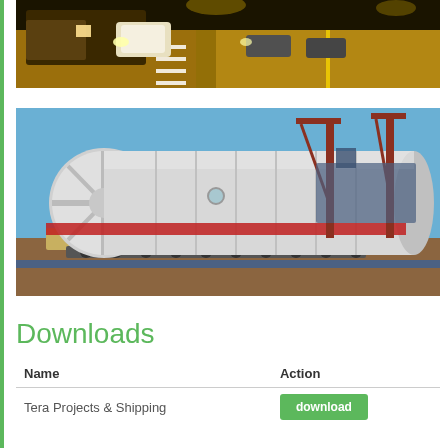[Figure (photo): Night scene of large industrial transport vehicles on a highway with multiple lanes, yellow-lit road markings]
[Figure (photo): Large white cylindrical industrial vessel or reactor being transported on a multi-axle heavy load trailer at a port, with red cranes and ship in background]
Downloads
| Name | Action |
| --- | --- |
| Tera Projects & Shipping | download |